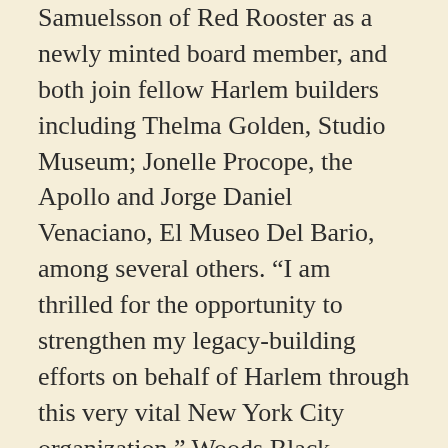Samuelsson of Red Rooster as a newly minted board member, and both join fellow Harlem builders including Thelma Golden, Studio Museum; Jonelle Procope, the Apollo and Jorge Daniel Venaciano, El Museo Del Bario, among several others. “I am thrilled for the opportunity to strengthen my legacy-building efforts on behalf of Harlem through this very vital New York City organization,” Woods Black remarked.
“Representing a business that has welcomed visitors to Harlem and New York for over 50 years and counting, we understand the importance and value of our visitors and see this as a more crucial time than ever to strengthen the Harlem brand within the context of opportunity and global visibility.